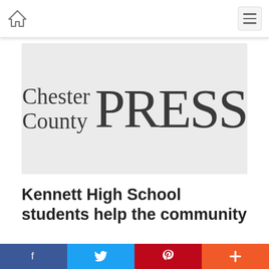Chester County PRESS
[Figure (logo): Chester County PRESS newspaper logo on grey background]
Kennett High School students help the community
12/04/2013 01:56PM • By Acl
Facebook | Twitter | Pinterest | More